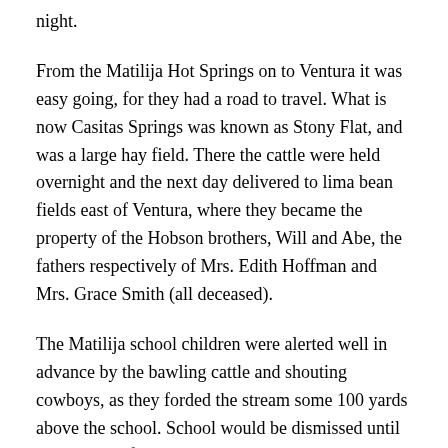night.
From the Matilija Hot Springs on to Ventura it was easy going, for they had a road to travel. What is now Casitas Springs was known as Stony Flat, and was a large hay field. There the cattle were held overnight and the next day delivered to lima bean fields east of Ventura, where they became the property of the Hobson brothers, Will and Abe, the fathers respectively of Mrs. Edith Hoffman and Mrs. Grace Smith (all deceased).
The Matilija school children were alerted well in advance by the bawling cattle and shouting cowboys, as they forded the stream some 100 yards above the school. School would be dismissed until the last yip of the cowboys died away down the dusty road.
Among the cattlemen on these drives were, of course, various Reyes boy… Rudolpho, Anselmo, Peter and